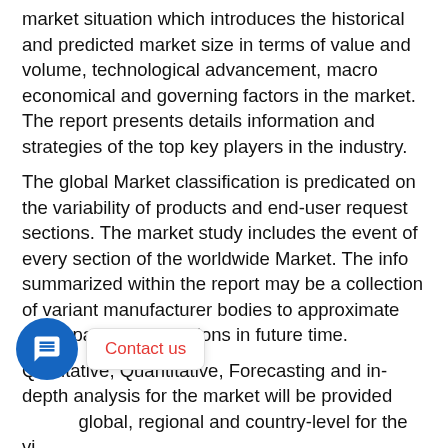market situation which introduces the historical and predicted market size in terms of value and volume, technological advancement, macro economical and governing factors in the market. The report presents details information and strategies of the top key players in the industry.
The global Market classification is predicated on the variability of products and end-user request sections. The market study includes the event of every section of the worldwide Market. The info summarized within the report may be a collection of variant manufacturer bodies to approximate the expansion of sections in future time.
Qualitative, Quantitative, Forecasting and in-depth analysis for the market will be provided global, regional and country-level for the vi...
Historical data- 2016 to 2018